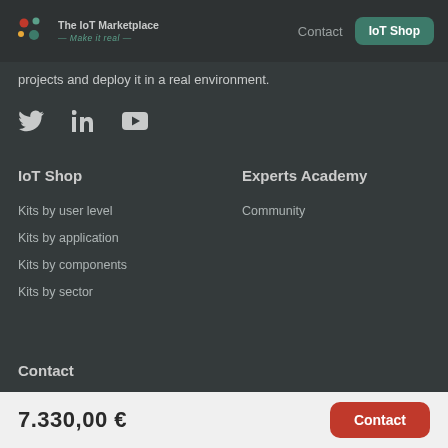The IoT Marketplace — Make it real | Contact | IoT Shop
projects and deploy it in a real environment.
[Figure (other): Social media icons: Twitter, LinkedIn, YouTube]
IoT Shop
Experts Academy
Kits by user level
Community
Kits by application
Kits by components
Kits by sector
Contact
Email us
7.330,00 € | Contact